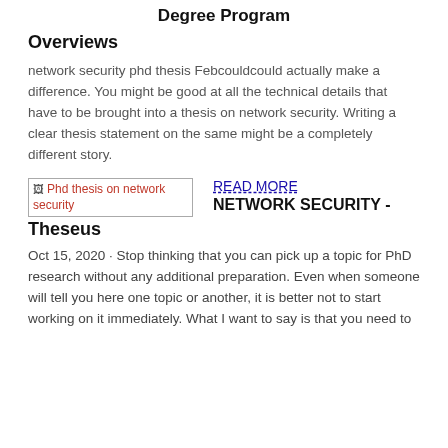Degree Program
Overviews
network security phd thesis Febcouldcould actually make a difference. You might be good at all the technical details that have to be brought into a thesis on network security. Writing a clear thesis statement on the same might be a completely different story.
[Figure (illustration): Broken image placeholder showing 'Phd thesis on network security' alt text in red/pink color]
READ MORE
NETWORK SECURITY -
Theseus
Oct 15, 2020 · Stop thinking that you can pick up a topic for PhD research without any additional preparation. Even when someone will tell you here one topic or another, it is better not to start working on it immediately. What I want to say is that you need to